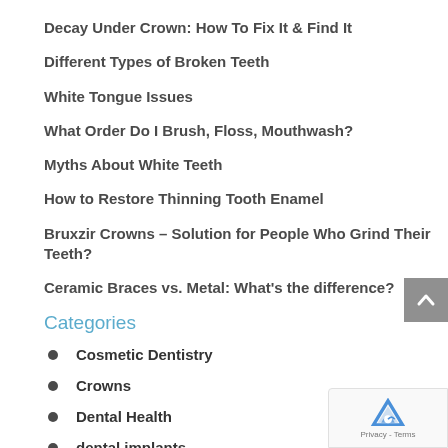Decay Under Crown: How To Fix It & Find It
Different Types of Broken Teeth
White Tongue Issues
What Order Do I Brush, Floss, Mouthwash?
Myths About White Teeth
How to Restore Thinning Tooth Enamel
Bruxzir Crowns – Solution for People Who Grind Their Teeth?
Ceramic Braces vs. Metal: What's the difference?
Categories
Cosmetic Dentistry
Crowns
Dental Health
dental implants